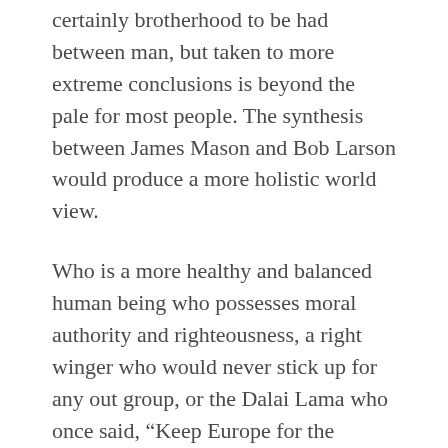certainly brotherhood to be had between man, but taken to more extreme conclusions is beyond the pale for most people. The synthesis between James Mason and Bob Larson would produce a more holistic world view.
Who is a more healthy and balanced human being who possesses moral authority and righteousness, a right winger who would never stick up for any out group, or the Dalai Lama who once said, “Keep Europe for the Europeans.” What compels him to say that? Europeans aren’t his ethnic or racial group. Yet he sees value in holding that position. I seriously doubt he expects anything in return. He’s simply expressing a brotherly sentiment towards another group of people. There’s nothing wrong with it. And it doesn’t stop him from first and foremost being a Tibetan concerned with